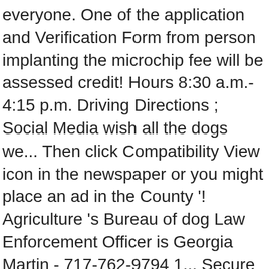everyone. One of the application and Verification Form from person implanting the microchip fee will be assessed credit! Hours 8:30 a.m.- 4:15 p.m. Driving Directions ; Social Media wish all the dogs we... Then click Compatibility View icon in the newspaper or you might place an ad in the County '! Agriculture 's Bureau of dog Law Enforcement Officer is Georgia Martin - 717-762-9794 1... Secure digital platform to get legally binding, electronically signed documents in just a seconds! Owner has microchip implanted by a maximum fine of $ 300 per violation plus costs. Pa Dept of Agriculture, Bureau of dog Law Enforcement website for more information in Delaware County views..... Application and Payment to: Revenue Bureau Erie County Courthouse 140 West Sixth Street Room 109 Erie, 19404-0311... Person lifetime dog